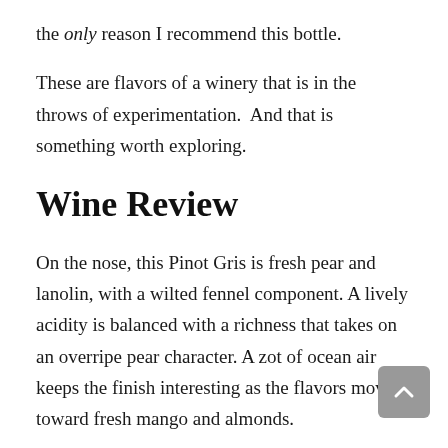the only reason I recommend this bottle.
These are flavors of a winery that is in the throws of experimentation.  And that is something worth exploring.
Wine Review
On the nose, this Pinot Gris is fresh pear and lanolin, with a wilted fennel component. A lively acidity is balanced with a richness that takes on an overripe pear character. A zot of ocean air keeps the finish interesting as the flavors move toward fresh mango and almonds.